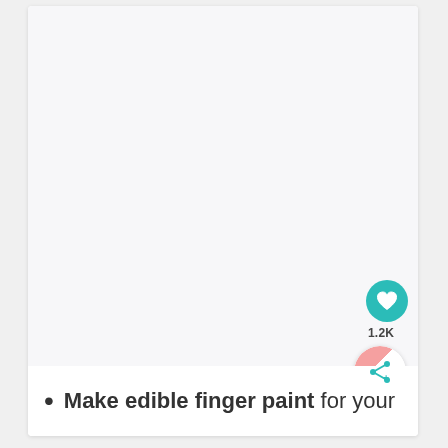[Figure (photo): Large white/light gray blank image area occupying most of the card, with a teal heart icon button showing 1.2K and a pink/white share button overlay in the bottom-right corner.]
Make edible finger paint for your